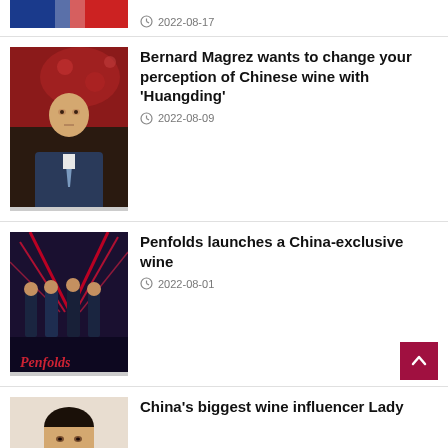[Figure (photo): Partial top image showing a flag with blue and red colors]
2022-08-17
[Figure (photo): Elderly man in a suit sitting in an ornate chair, a red floral background behind him]
Bernard Magrez wants to change your perception of Chinese wine with 'Huangding'
2022-08-09
[Figure (photo): Group of men in suits on a stage with red laser lights and Penfolds branding]
Penfolds launches a China-exclusive wine
2022-08-01
[Figure (photo): Partial image of a young Asian woman]
China's biggest wine influencer Lady